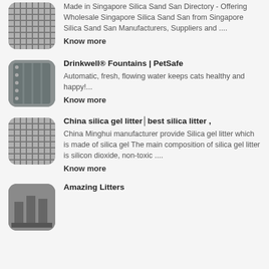[Figure (photo): Thumbnail image of a grid/grate pattern]
Made in Singapore Silica Sand San Directory - Offering Wholesale Singapore Silica Sand San from Singapore Silica Sand San Manufacturers, Suppliers and ....
Know more
[Figure (photo): Thumbnail image of a metal panel with rivets]
Drinkwell® Fountains | PetSafe
Automatic, fresh, flowing water keeps cats healthy and happy!...
Know more
[Figure (photo): Thumbnail image of a grid/grate pattern]
China silica gel litter│best silica litter ,
China Minghui manufacturer provide Silica gel litter which is made of silica gel The main composition of silica gel litter is silicon dioxide, non-toxic ....
Know more
[Figure (photo): Thumbnail image of stacked items]
Amazing Litters